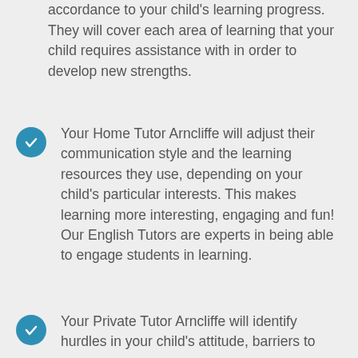accordance to your child's learning progress. They will cover each area of learning that your child requires assistance with in order to develop new strengths.
Your Home Tutor Arncliffe will adjust their communication style and the learning resources they use, depending on your child's particular interests. This makes learning more interesting, engaging and fun! Our English Tutors are experts in being able to engage students in learning.
Your Private Tutor Arncliffe will identify hurdles in your child's attitude, barriers to...